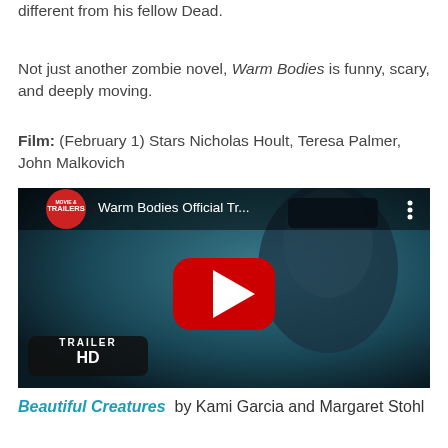different from his fellow Dead.
Not just another zombie novel, Warm Bodies is funny, scary, and deeply moving.
Film: (February 1) Stars Nicholas Hoult, Teresa Palmer, John Malkovich
[Figure (screenshot): YouTube video thumbnail for 'Warm Bodies Official Tr...' showing a zombie character with a red YouTube play button overlay, 'TRAILER HD' text, and a Trailers channel logo in the top left.]
Beautiful Creatures by Kami Garcia and Margaret Stohl
[Figure (photo): Book cover of Beautiful Creatures showing stylized pink/magenta text on a dark background.]